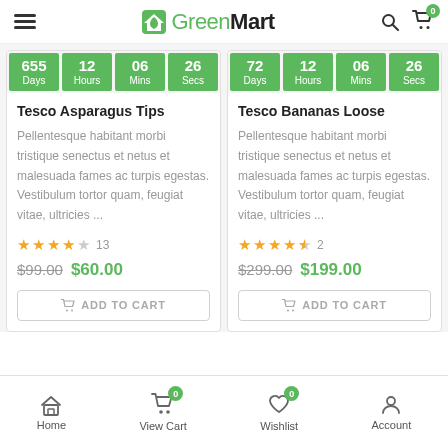GreenMart
[Figure (screenshot): Product card 1: Tesco Asparagus Tips with countdown timer 655 Days 12 Hours 06 Mins 26 Secs, description, 4-star rating (13 reviews), old price $99.00, new price $60.00, Add to Cart button]
[Figure (screenshot): Product card 2: Tesco Bananas Loose with countdown timer 72 Days 12 Hours 06 Mins 26 Secs, description, 4.5-star rating (2 reviews), old price $299.00, new price $199.00, Add to Cart button]
Home | View Cart (0) | Wishlist (0) | Account